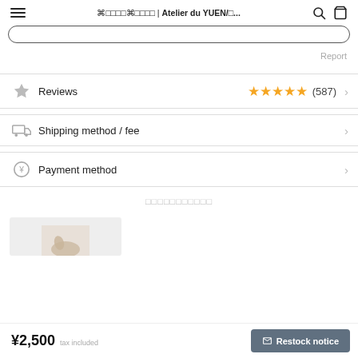⌘□□□□⌘□□□□ | Atelier du YUEN/□...
Report
Reviews (587) ★★★★★
Shipping method / fee
Payment method
□□□□□□□□□□□
[Figure (photo): Product image partially visible at bottom of page]
¥2,500 tax included   Restock notice